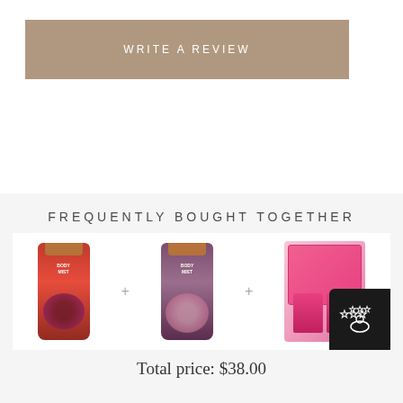[Figure (other): Tan/brown button labeled WRITE A REVIEW]
FREQUENTLY BOUGHT TOGETHER
[Figure (other): Three product images in a white box: a red berry body mist spray, a purple floral body mist spray, and a pink gift set box with two bottles. Plus signs between them.]
Total price: $38.00